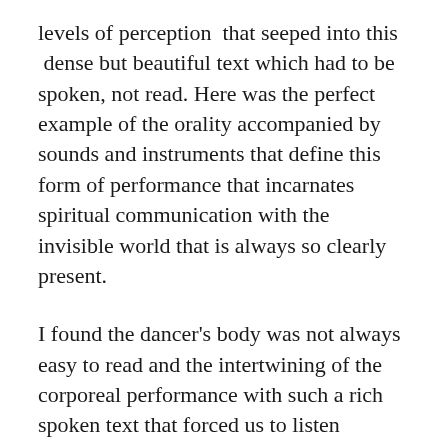levels of perception  that seeped into this  dense but beautiful text which had to be spoken, not read. Here was the perfect example of the orality accompanied by sounds and instruments that define this form of performance that incarnates spiritual communication with the invisible world that is always so clearly present.
I found the dancer's body was not always easy to read and the intertwining of the corporeal performance with such a rich spoken text that forced us to listen intently, at times gave the impression that the moving body produced an overflowing of information sometimes difficult to capture.  However, the fluid flow and the beautiful blue of the warm river drew us deeper into that watery world and we followed her journey without the slightest hesitation.